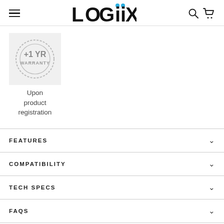Logiix – navigation header with hamburger menu, logo, search and cart icons
[Figure (illustration): +1 YR WARRANTY circular badge stamp on light grey background]
Upon product registration
FEATURES
COMPATIBILITY
TECH SPECS
FAQS